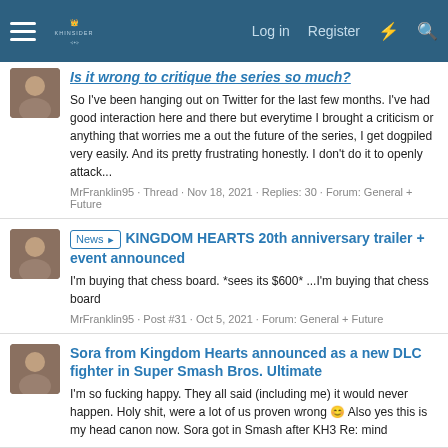KHInsider forum header with Log in, Register, and search icons
Is it wrong to critique the series so much?
So I've been hanging out on Twitter for the last few months. I've had good interaction here and there but everytime I brought a criticism or anything that worries me a out the future of the series, I get dogpiled very easily. And its pretty frustrating honestly. I don't do it to openly attack...
MrFranklin95 · Thread · Nov 18, 2021 · Replies: 30 · Forum: General + Future
News ► KINGDOM HEARTS 20th anniversary trailer + event announced
I'm buying that chess board. *sees its $600* ...I'm buying that chess board
MrFranklin95 · Post #31 · Oct 5, 2021 · Forum: General + Future
Sora from Kingdom Hearts announced as a new DLC fighter in Super Smash Bros. Ultimate
I'm so fucking happy. They all said (including me) it would never happen. Holy shit, were a lot of us proven wrong 😊 Also yes this is my head canon now. Sora got in Smash after KH3 Re: mind